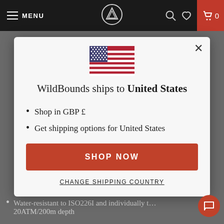MENU [logo] [search] [heart] [cart] 0
[Figure (illustration): US flag emoji centered in modal]
WildBounds ships to United States
Shop in GBP £
Get shipping options for United States
SHOP NOW
CHANGE SHIPPING COUNTRY
Water-resistant to ISO226I and individually t... 20ATM/200m depth